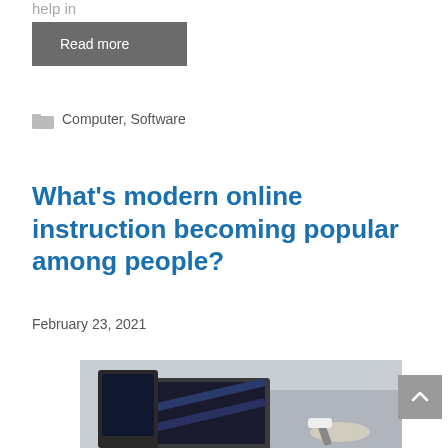help in
Read more
Computer, Software
What's modern online instruction becoming popular among people?
February 23, 2021
[Figure (photo): Person writing notes next to a laptop and tablet on a desk]